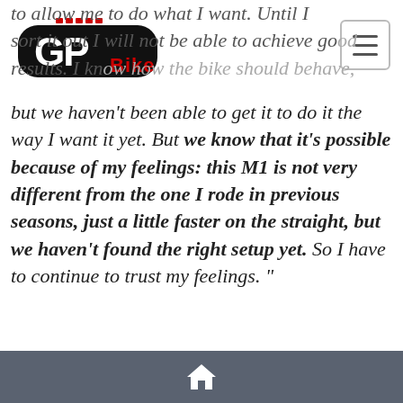GP Bike logo and navigation
to allow me to do what I want. Until I sort it out I will not be able to achieve good results. I know how the bike should behave, but we haven't been able to get it to do it the way I want it yet. But we know that it's possible because of my feelings: this M1 is not very different from the one I rode in previous seasons, just a little faster on the straight, but we haven't found the right setup yet. So I have to continue to trust my feelings. "
Home